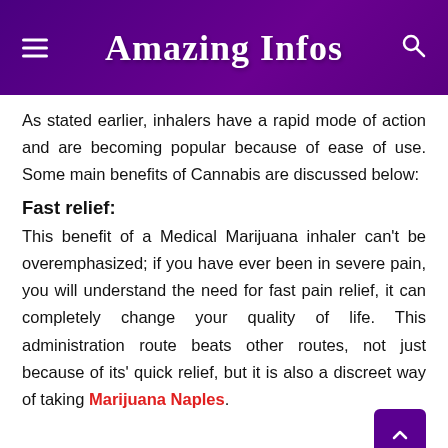Amazing Infos
As stated earlier, inhalers have a rapid mode of action and are becoming popular because of ease of use. Some main benefits of Cannabis are discussed below:
Fast relief:
This benefit of a Medical Marijuana inhaler can't be overemphasized; if you have ever been in severe pain, you will understand the need for fast pain relief, it can completely change your quality of life. This administration route beats other routes, not just because of its' quick relief, but it is also a discreet way of taking Marijuana Naples.
Bioavailability: